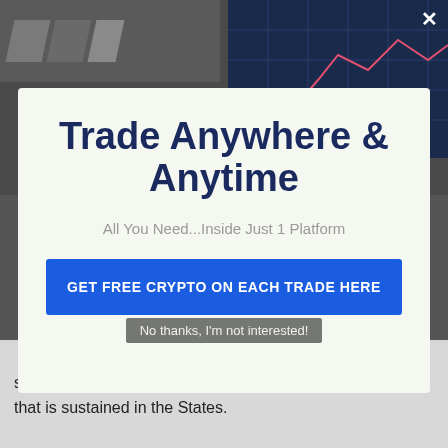[Figure (screenshot): Dark background with a partial logo on the top left and a blue financial chart/grid on the top right, with a white × close button]
Trade Anywhere & Anytime
All You Need...Inside Just 1 Platform
GET FREE CRYPTO ON EACH TRADE HERE
No thanks, I'm not interested!
separate web No thanks, I'm not interested! (evaluation) that is sustained in the States.